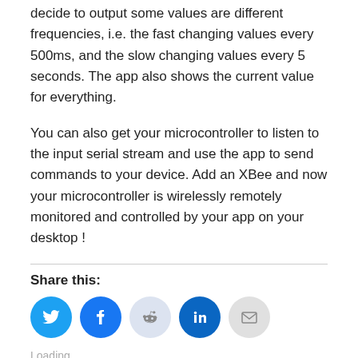decide to output some values are different frequencies, i.e. the fast changing values every 500ms, and the slow changing values every 5 seconds. The app also shows the current value for everything.
You can also get your microcontroller to listen to the input serial stream and use the app to send commands to your device. Add an XBee and now your microcontroller is wirelessly remotely monitored and controlled by your app on your desktop !
Share this:
[Figure (other): Social sharing icons: Twitter (blue bird), Facebook (blue f), Reddit (light blue alien), LinkedIn (dark blue in), Email (grey envelope)]
Loading...